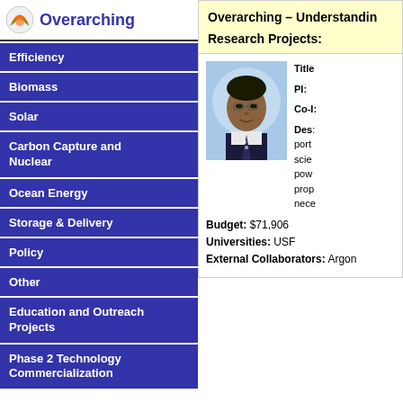[Figure (logo): Circular logo with orange/green design next to 'Overarching' text in blue]
Efficiency
Biomass
Solar
Carbon Capture and Nuclear
Ocean Energy
Storage & Delivery
Policy
Other
Education and Outreach Projects
Phase 2 Technology Commercialization
Overarching – Understandin
Research Projects:
[Figure (photo): Professional headshot of a man with glasses wearing a dark suit and tie]
Title:
PI:
Co-I:
Des: port scie pow prop nece
Budget: $71,906
Universities: USF
External Collaborators: Argon